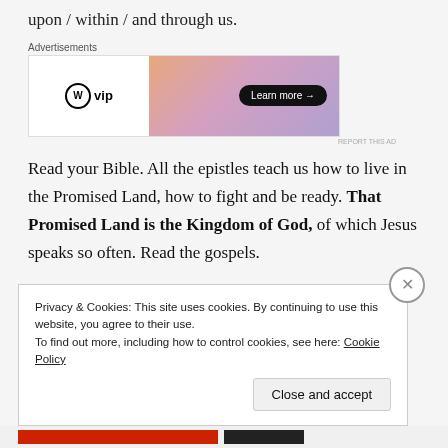upon / within / and through us.
[Figure (screenshot): WordPress VIP advertisement banner with 'Learn more' button on gradient orange-purple background]
Read your Bible. All the epistles teach us how to live in the Promised Land, how to fight and be ready. That Promised Land is the Kingdom of God, of which Jesus speaks so often. Read the gospels.
For more on sin and forgiveness see these posts:
Privacy & Cookies: This site uses cookies. By continuing to use this website, you agree to their use.
To find out more, including how to control cookies, see here: Cookie Policy